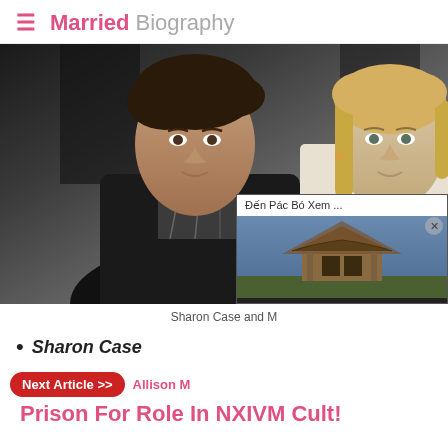Married Biography
[Figure (photo): Photo of a dark-haired man and a blonde woman posing together, with a 'Real life' magazine overlay and a video overlay showing 'Đến Pác Bó Xem ...' with a play button thumbnail of a traditional building]
Sharon Case and M
Sharon Case
Next Article >> Allison M... Prison For Role In NXIVM Cult!